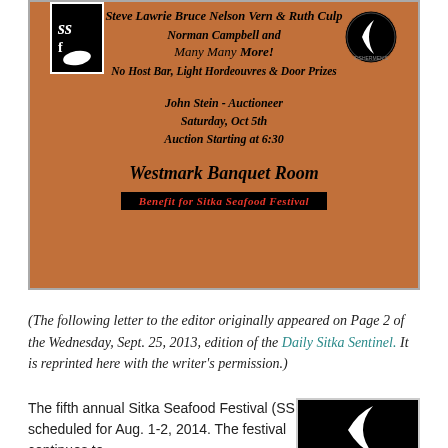[Figure (infographic): Orange/brown event poster for a Sitka Seafood Festival auction. Lists names: Steve Lawrie, Bruce Nelson, Vern & Ruth Culp, Norman Campbell and Many Many More! No Host Bar, Light Hordeouvres & Door Prizes. John Stein - Auctioneer, Saturday Oct 5th, Auction Starting at 6:30, Westmark Banquet Room. Benefit for Sitka Seafood Festival. Contains SSF logo (black/white fish) and Fishermen logo (moon/fish).]
(The following letter to the editor originally appeared on Page 2 of the Wednesday, Sept. 25, 2013, edition of the Daily Sitka Sentinel. It is reprinted here with the writer's permission.)
The fifth annual Sitka Seafood Festival (SSF) is scheduled for Aug. 1-2, 2014. The festival continues to